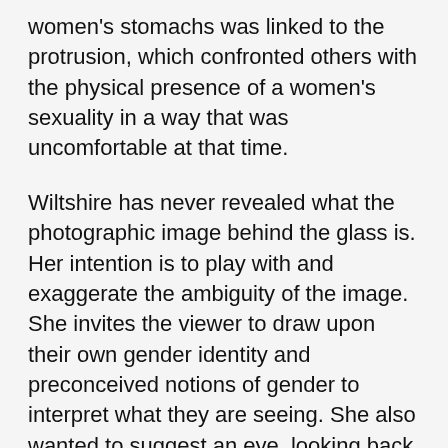women's stomachs was linked to the protrusion, which confronted others with the physical presence of a women's sexuality in a way that was uncomfortable at that time.
Wiltshire has never revealed what the photographic image behind the glass is. Her intention is to play with and exaggerate the ambiguity of the image. She invites the viewer to draw upon their own gender identity and preconceived notions of gender to interpret what they are seeing. She also wanted to suggest an eye, looking back. This was intended to force the viewer to be aware of the act of looking, and to make them more aware of the sexual associations of the image.